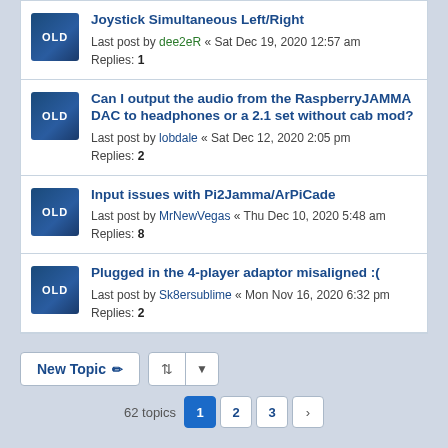Joystick Simultaneous Left/Right
Last post by dee2eR « Sat Dec 19, 2020 12:57 am
Replies: 1
Can I output the audio from the RaspberryJAMMA DAC to headphones or a 2.1 set without cab mod?
Last post by lobdale « Sat Dec 12, 2020 2:05 pm
Replies: 2
Input issues with Pi2Jamma/ArPiCade
Last post by MrNewVegas « Thu Dec 10, 2020 5:48 am
Replies: 8
Plugged in the 4-player adaptor misaligned :(
Last post by Sk8ersublime « Mon Nov 16, 2020 6:32 pm
Replies: 2
New Topic   |   62 topics   1  2  3  >